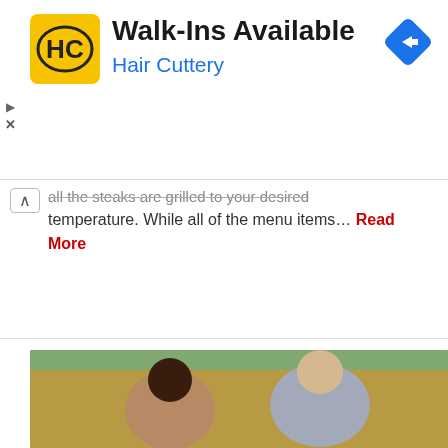[Figure (infographic): Hair Cuttery advertisement banner with yellow HC logo, title 'Walk-Ins Available', subtitle 'Hair Cuttery', blue navigation diamond icon, and ad control buttons]
all the steaks are grilled to your desired temperature. While all of the menu items… Read More
[Figure (photo): Two young tourists smiling on an open-top tour bus. A woman with dark hair wearing sunglasses and a floral dress is in the foreground, and a young man with sunglasses on his head wearing a chambray shirt with a camera strap is beside her. Green trees visible in background.]